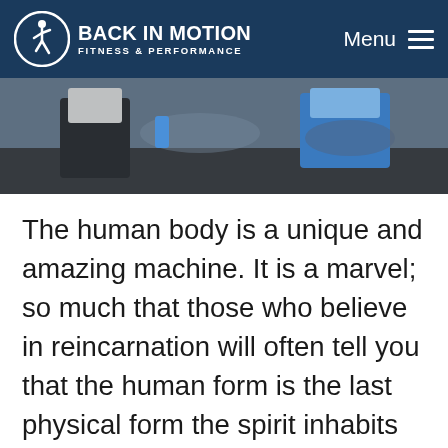BACK IN MOTION FITNESS & PERFORMANCE — Menu
[Figure (photo): Gym workout photo showing people exercising on gym equipment, holding water bottles]
The human body is a unique and amazing machine. It is a marvel; so much that those who believe in reincarnation will often tell you that the human form is the last physical form the spirit inhabits before its liberation from the cycle of life and death. This simply means that we are fortunate, and it is our duty to make this
Leave a message